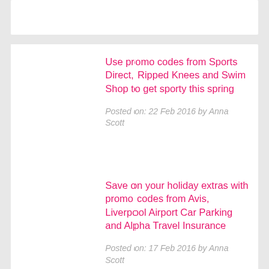Use promo codes from Sports Direct, Ripped Knees and Swim Shop to get sporty this spring
Posted on: 22 Feb 2016 by Anna Scott
Save on your holiday extras with promo codes from Avis, Liverpool Airport Car Parking and Alpha Travel Insurance
Posted on: 17 Feb 2016 by Anna Scott